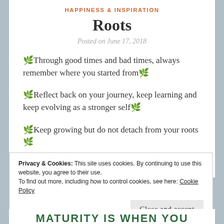HAPPINESS & INSPIRATION
Roots
Posted on June 17, 2018
🌿 Through good times and bad times, always remember where you started from 🌿
🌿 Reflect back on your journey, keep learning and keep evolving as a stronger self 🌿
🌿 Keep growing but do not detach from your roots 🌿
Privacy & Cookies: This site uses cookies. By continuing to use this website, you agree to their use.
To find out more, including how to control cookies, see here: Cookie Policy
Close and accept
MATURITY IS WHEN YOU